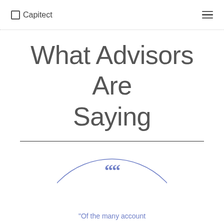Capitect
What Advisors Are Saying
[Figure (illustration): A large circle outline with a blue quotation mark icon inside, and the partial text '"Of the many account' visible at the bottom.]